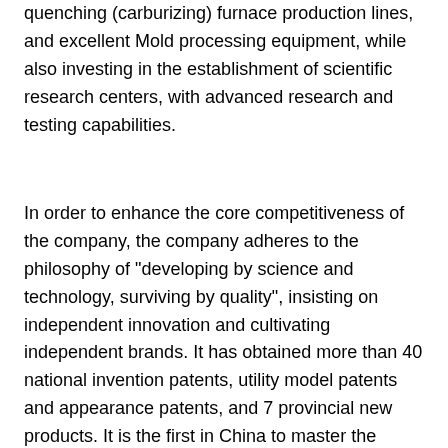quenching (carburizing) furnace production lines, and excellent Mold processing equipment, while also investing in the establishment of scientific research centers, with advanced research and testing capabilities.
In order to enhance the core competitiveness of the company, the company adheres to the philosophy of "developing by science and technology, surviving by quality", insisting on independent innovation and cultivating independent brands. It has obtained more than 40 national invention patents, utility model patents and appearance patents, and 7 provincial new products. It is the first in China to master the C70S6BY high carbon non-tempered steel series and 36MnVS4, 38MnVS5 medium carbon non-tempered steel series expansion joint technology and precision forging technology. And in the system management, has passed the German Rheinland (Shanghai) IATF16949: 2016 automotive industry quality system certification, ISO14001: 2004 environmental management system certification.